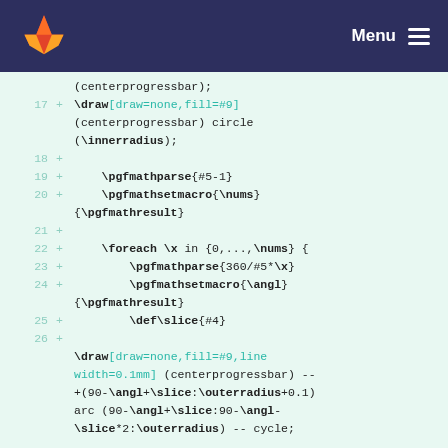Menu
[Figure (screenshot): GitLab fox logo in orange on dark blue header]
(centerprogressbar);
17 + \draw[draw=none,fill=#9] (centerprogressbar) circle (\innerradius);
18 +
19 + \pgfmathparse{#5-1}
20 + \pgfmathsetmacro{\nums} {\pgfmathresult}
21 +
22 + \foreach \x in {0,...,\nums} {
23 + \pgfmathparse{360/#5*\x}
24 + \pgfmathsetmacro{\angl} {\pgfmathresult}
25 + \def\slice{#4}
26 +
\draw[draw=none,fill=#9,line width=0.1mm] (centerprogressbar) -- +(90-\angl+\slice:\outerradius+0.1) arc (90-\angl+\slice:90-\angl-\slice*2:\outerradius) -- cycle;